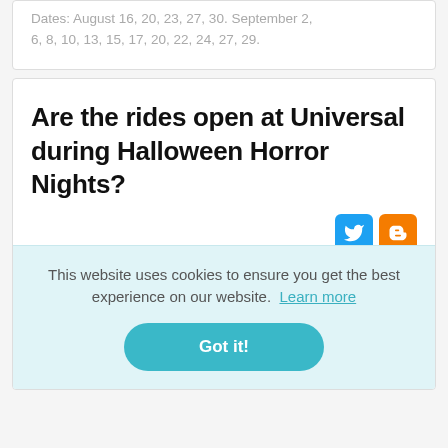Dates: August 16, 20, 23, 27, 30. September 2, 6, 8, 10, 13, 15, 17, 20, 22, 24, 27, 29.
Are the rides open at Universal during Halloween Horror Nights?
Some of the regular rides dare to be
This website uses cookies to ensure you get the best experience on our website. Learn more
Got it!